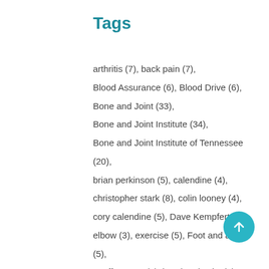Tags
arthritis (7), back pain (7), Blood Assurance (6), Blood Drive (6), Bone and Joint (33), Bone and Joint Institute (34), Bone and Joint Institute of Tennessee (20), brian perkinson (5), calendine (4), christopher stark (8), colin looney (4), cory calendine (5), Dave Kempfert (4), elbow (3), exercise (5), Foot and ankle (5), geoff watson (9), hand and wrist (7), ian byram (5), jeffrey kutsikovich (6), john klekamp (4), mcnamara (6), michael mcnamara (6), Orthopaedic (8), orthopaedics (7), Orthopaedics (6),